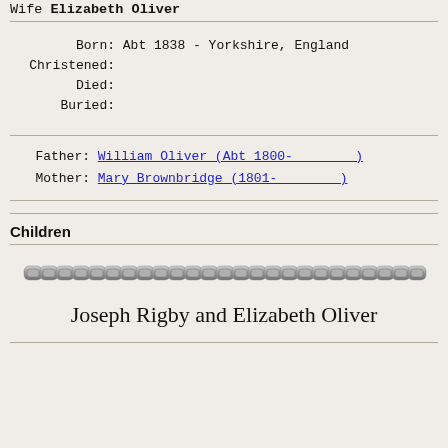Wife Elizabeth Oliver
Born: Abt 1838 - Yorkshire, England
Christened:
Died:
Buried:
Father: William Oliver (Abt 1800-        )
Mother: Mary Brownbridge (1801-        )
Children
[Figure (illustration): Decorative chain link divider image]
Joseph Rigby and Elizabeth Oliver